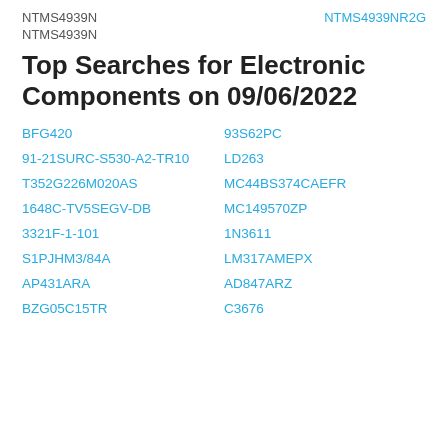NTMS4939N    NTMS4939NR2G
NTMS4939N
Top Searches for Electronic Components on 09/06/2022
BFG420
93S62PC
91-21SURC-S530-A2-TR10
LD263
T352G226M020AS
MC44BS374CAEFR
1648C-TV5SEGV-DB
MC149570ZP
3321F-1-101
1N3611
S1PJHM3/84A
LM317AMEPX
AP431ARA
AD847ARZ
BZG05C15TR
C3676